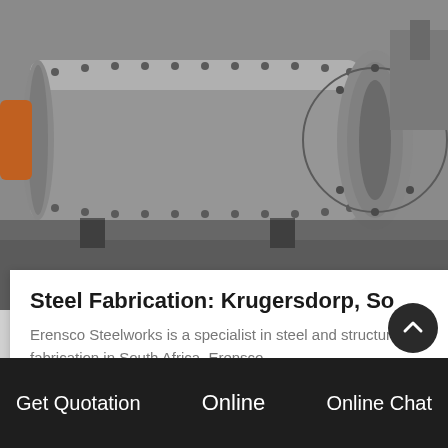[Figure (photo): Industrial steel ball mill / rotating drum machine, large cylindrical grey metal vessel with bolted flanges, photographed outdoors]
Steel Fabrication: Krugersdorp, So
Erensco Steelworks is a specialist in steel and structural fabrication in South Africa. Erensco
GET PRICE
[Figure (photo): Close-up of industrial machinery parts with red and blue painted metal gears or impeller components]
Get Quotation   Online   Online Chat